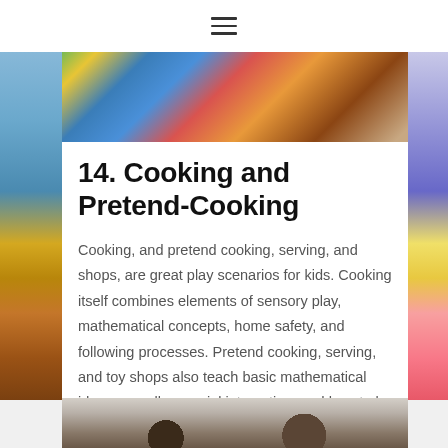≡
[Figure (photo): Colorful board game pieces (green, blue, yellow, red) on carpet, children playing]
14. Cooking and Pretend-Cooking
Cooking, and pretend cooking, serving, and shops, are great play scenarios for kids. Cooking itself combines elements of sensory play, mathematical concepts, home safety, and following processes. Pretend cooking, serving, and toy shops also teach basic mathematical ideas as well as social interaction, and how to be thoughtful to others.
[Figure (photo): Child with dark curly hair wearing a white chef hat, cooking or pretend-cooking scene with hexagonal tile background]